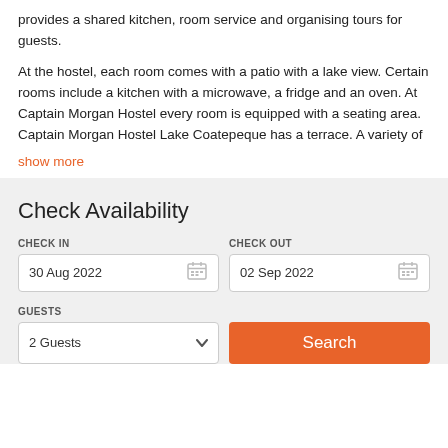provides a shared kitchen, room service and organising tours for guests.
At the hostel, each room comes with a patio with a lake view. Certain rooms include a kitchen with a microwave, a fridge and an oven. At Captain Morgan Hostel every room is equipped with a seating area. Captain Morgan Hostel Lake Coatepeque has a terrace. A variety of show more
Check Availability
CHECK IN
30 Aug 2022
CHECK OUT
02 Sep 2022
GUESTS
2 Guests
Search